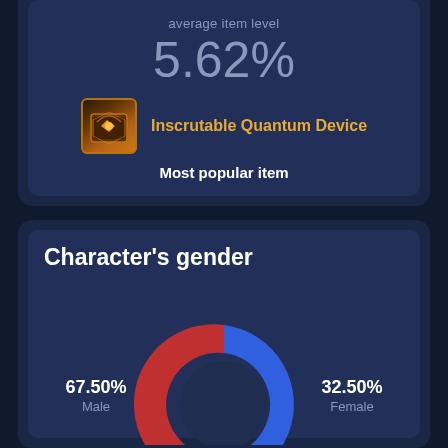average item level
5.62%
[Figure (illustration): Game item icon for Inscrutable Quantum Device — golden glowing crate icon with orange border]
Inscrutable Quantum Device
Most popular item
Character's gender
[Figure (donut-chart): Character's gender]